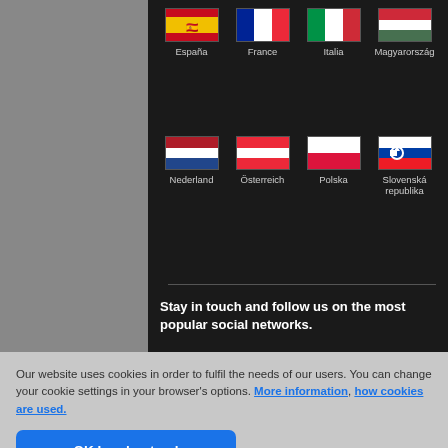[Figure (illustration): Row of country flag icons with labels: España, France, Italia, Magyarország]
[Figure (illustration): Row of country flag icons with labels: Nederland, Österreich, Polska, Slovenská republika]
Stay in touch and follow us on the most popular social networks.
338.9K
2.2K
3.5K
Our website uses cookies in order to fulfil the needs of our users. You can change your cookie settings in your browser's options. More information, how cookies are used.
OK I understand